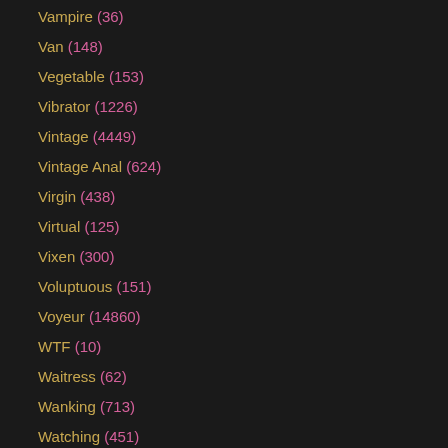Vampire (36)
Van (148)
Vegetable (153)
Vibrator (1226)
Vintage (4449)
Vintage Anal (624)
Virgin (438)
Virtual (125)
Vixen (300)
Voluptuous (151)
Voyeur (14860)
WTF (10)
Waitress (62)
Wanking (713)
Watching (451)
Watersports (87)